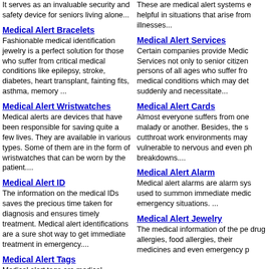It serves as an invaluable security and safety device for seniors living alone...
These are medical alert systems e helpful in situations that arise from illnesses...
Medical Alert Bracelets
Fashionable medical identification jewelry is a perfect solution for those who suffer from critical medical conditions like epilepsy, stroke, diabetes, heart transplant, fainting fits, asthma, memory ...
Medical Alert Services
Certain companies provide Medical Services not only to senior citizens persons of all ages who suffer from medical conditions which may det suddenly and necessitate...
Medical Alert Wristwatches
Medical alerts are devices that have been responsible for saving quite a few lives. They are available in various types. Some of them are in the form of wristwatches that can be worn by the patient....
Medical Alert Cards
Almost everyone suffers from one malady or another. Besides, the s cutthroat work environments may vulnerable to nervous and even ph breakdowns....
Medical Alert ID
The information on the medical IDs saves the precious time taken for diagnosis and ensures timely treatment. Medical alert identifications are a sure shot way to get immediate treatment in emergency....
Medical Alert Alarm
Medical alert alarms are alarm sys used to summon immediate medic emergency situations. ...
Medical Alert Tags
Medical alert tags are medical identification tags that contain important medical information of the person wearing it. ...
Medical Alert Jewelry
The medical information of the pe drug allergies, food allergies, their medicines and even emergency p